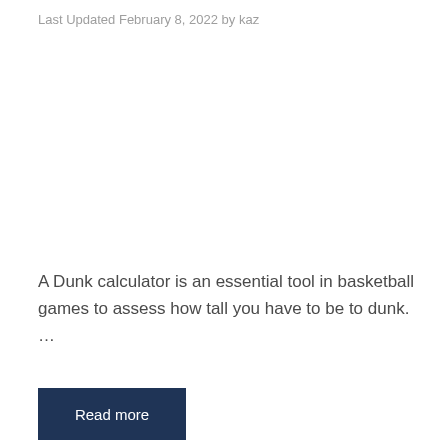Last Updated February 8, 2022 by kaz
A Dunk calculator is an essential tool in basketball games to assess how tall you have to be to dunk. …
Read more